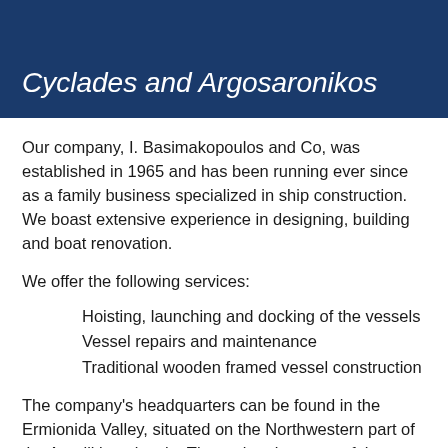Cyclades and Argosaronikos
Our company, I. Basimakopoulos and Co, was established in 1965 and has been running ever since as a family business specialized in ship construction. We boast extensive experience in designing, building and boat renovation.
We offer the following services:
Hoisting, launching and docking of the vessels
Vessel repairs and maintenance
Traditional wooden framed vessel construction
The company's headquarters can be found in the Ermionida Valley, situated on the Northwestern part of the Argoliki peninsula. The main advantage of the above mentioned location is that it is situated near a popular tourist